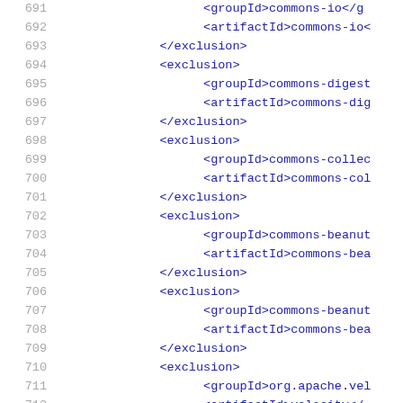Code listing lines 691-712 showing XML exclusion blocks with groupId and artifactId elements for commons-io, commons-digest, commons-collections, commons-beanutils, and org.apache.velocity dependencies